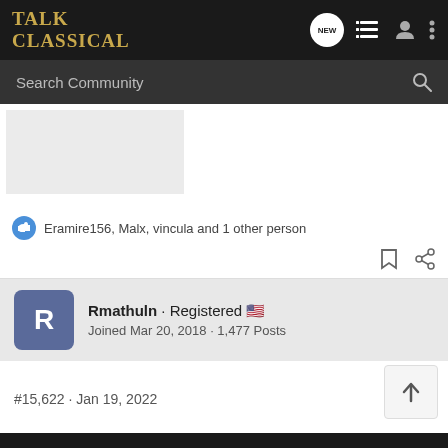Talk Classical
Search Community
[Figure (screenshot): Partial image placeholder (grey rectangle)]
Eramire156, Malx, vincula and 1 other person
Rmathuln · Registered
Joined Mar 20, 2018 · 1,477 Posts
#15,622 · Jan 19, 2022
[Figure (screenshot): Bottom image with hänssler badge on dark background]